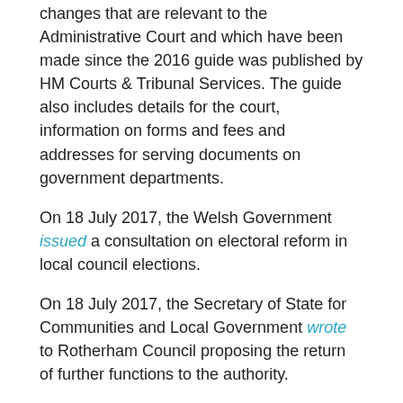changes that are relevant to the Administrative Court and which have been made since the 2016 guide was published by HM Courts & Tribunal Services. The guide also includes details for the court, information on forms and fees and addresses for serving documents on government departments.
On 18 July 2017, the Welsh Government issued a consultation on electoral reform in local council elections.
On 18 July 2017, the Secretary of State for Communities and Local Government wrote to Rotherham Council proposing the return of further functions to the authority.
On 10 July 2017 the Committee on Standards in Public Life published its annual report for 2016-17 and announced its intention to undertake a review of local government standards as part of its forward plan for 2017-18.